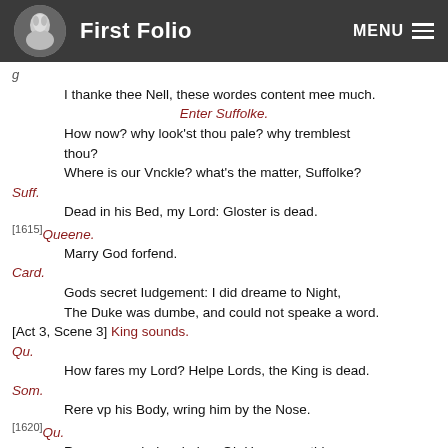First Folio
g
I thanke thee Nell, these wordes content mee much.
Enter Suffolke.
How now? why look'st thou pale? why tremblest thou?
Where is our Vnckle? what's the matter, Suffolke?
Suff. Dead in his Bed, my Lord: Gloster is dead.
[1615] Queene. Marry God forfend.
Card. Gods secret Iudgement: I did dreame to Night, The Duke was dumbe, and could not speake a word.
[Act 3, Scene 3] King sounds.
Qu. How fares my Lord? Helpe Lords, the King is dead.
Som. Rere vp his Body, wring him by the Nose.
[1620] Qu. Runne, goe, helpe, helpe: Oh Henry ope thine eyes.
Suff. He doth reuiue againe, Madame be patient.
King. Oh Heavenly God.
Qu.